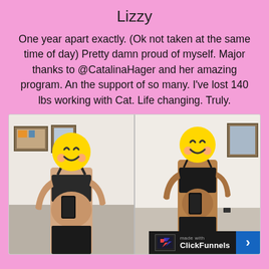Lizzy
One year apart exactly. (Ok not taken at the same time of day) Pretty damn proud of myself. Major thanks to @CatalinaHager and her amazing program. An the support of so many. I've lost 140 lbs working with Cat. Life changing. Truly.
[Figure (photo): Before and after comparison photos of a woman in a sports bra, faces covered with smiley face emojis. Left photo shows before, right photo shows after. A ClickFunnels badge is visible in the bottom right corner.]